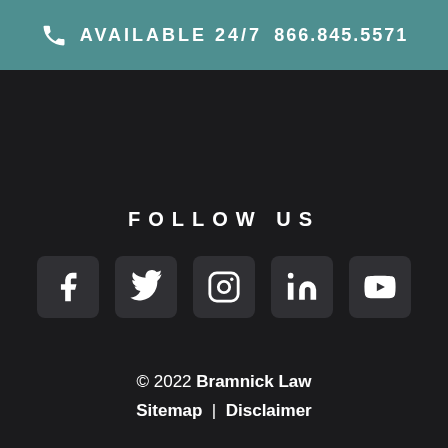AVAILABLE 24/7   866.845.5571
FOLLOW US
[Figure (infographic): Five social media icon buttons in a row: Facebook, Twitter, Instagram, LinkedIn, YouTube]
© 2022 Bramnick Law Sitemap  |  Disclaimer